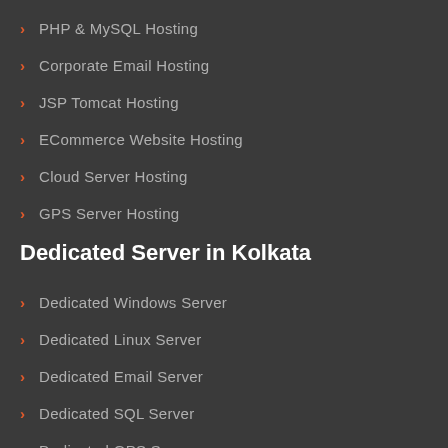PHP & MySQL Hosting
Corporate Email Hosting
JSP Tomcat Hosting
ECommerce Website Hosting
Cloud Server Hosting
GPS Server Hosting
Dedicated Server in Kolkata
Dedicated Windows Server
Dedicated Linux Server
Dedicated Email Server
Dedicated SQL Server
Dedicated GPS Server